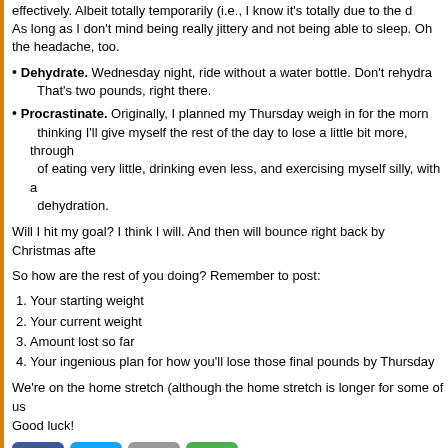effectively. Albeit totally temporarily (i.e., I know it's totally due to the d... As long as I don't mind being really jittery and not being able to sleep. Oh, the headache, too.
Dehydrate. Wednesday night, ride without a water bottle. Don't rehydra... That's two pounds, right there.
Procrastinate. Originally, I planned my Thursday weigh in for the morn... thinking I'll give myself the rest of the day to lose a little bit more, through... of eating very little, drinking even less, and exercising myself silly, with a... dehydration.
Will I hit my goal? I think I will. And then will bounce right back by Christmas afte...
So how are the rest of you doing? Remember to post:
1. Your starting weight
2. Your current weight
3. Amount lost so far
4. Your ingenious plan for how you'll lose those final pounds by Thursday
We're on the home stretch (although the home stretch is longer for some of us... Good luck!
[Figure (infographic): Four social sharing buttons: Facebook (blue), Twitter (blue), Email (gray), Share (green)]
527 Comments